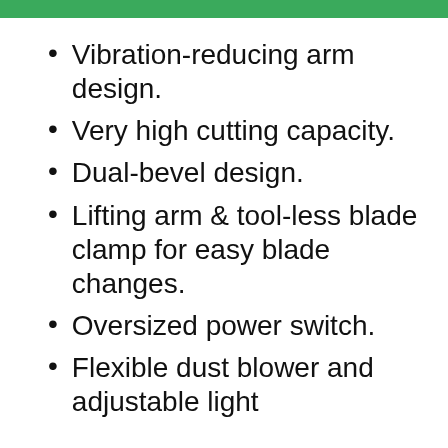Vibration-reducing arm design.
Very high cutting capacity.
Dual-bevel design.
Lifting arm & tool-less blade clamp for easy blade changes.
Oversized power switch.
Flexible dust blower and adjustable light